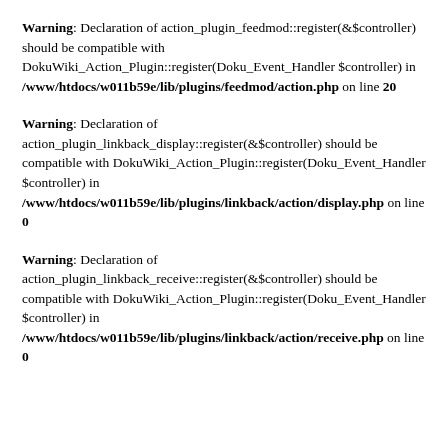Warning: Declaration of action_plugin_feedmod::register(&$controller) should be compatible with DokuWiki_Action_Plugin::register(Doku_Event_Handler $controller) in /www/htdocs/w011b59e/lib/plugins/feedmod/action.php on line 20
Warning: Declaration of action_plugin_linkback_display::register(&$controller) should be compatible with DokuWiki_Action_Plugin::register(Doku_Event_Handler $controller) in /www/htdocs/w011b59e/lib/plugins/linkback/action/display.php on line 0
Warning: Declaration of action_plugin_linkback_receive::register(&$controller) should be compatible with DokuWiki_Action_Plugin::register(Doku_Event_Handler $controller) in /www/htdocs/w011b59e/lib/plugins/linkback/action/receive.php on line 0